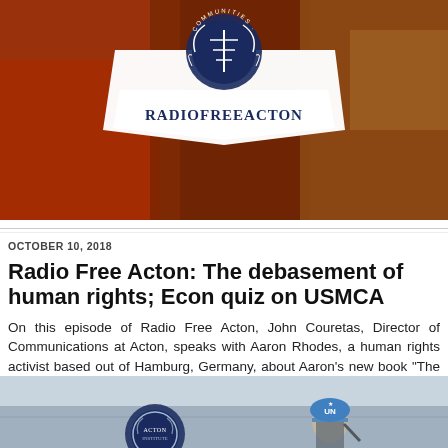[Figure (photo): Religious painting background with RadioFreeActon logo/banner overlay at the top of the page]
OCTOBER 10, 2018
Radio Free Acton: The debasement of human rights; Econ quiz on USMCA
On this episode of Radio Free Acton, John Couretas, Director of Communications at Acton, speaks with Aaron Rhodes, a human rights activist based out of Hamburg, Germany, about Aaron's new book “The Debasement of Human Rights.” Continue Reading...
[Figure (photo): Bottom portion showing a UN soldier/figure with blue helmet and a circular logo, against a grey-blue background]